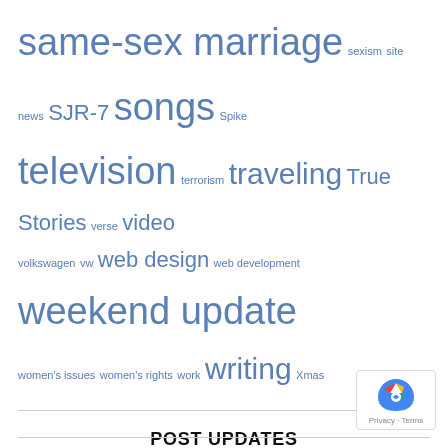same-sex marriage  sexism  site news  SJR-7  songs  Spike  television  terrorism  traveling  True Stories  verse  video  volkswagen  vw  web design  web development  weekend update  women's issues  women's rights  work  writing  Xmas
POST UPDATES
Email Address *
Subscribe
[Figure (other): Google reCAPTCHA badge showing a blue recycling-arrow icon with 'Privacy - Terms' text below]